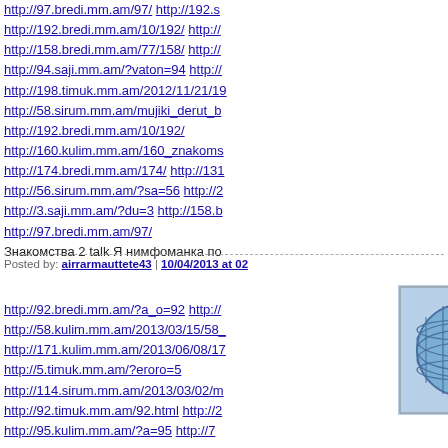http://97.bredi.mm.am/97/ http://192.s...
http://192.bredi.mm.am/10/192/ http://...
http://158.bredi.mm.am/77/158/ http://...
http://94.saji.mm.am/?vaton=94 http://...
http://198.timuk.mm.am/2012/11/21/19...
http://58.sirum.mm.am/mujiki_derut_b...
http://192.bredi.mm.am/10/192/
http://160.kulim.mm.am/160_znakoms...
http://174.bredi.mm.am/174/ http://131...
http://56.sirum.mm.am/?sa=56 http://2...
http://3.saji.mm.am/?du=3 http://158.b...
http://97.bredi.mm.am/97/
Знакомства 2 talk Я нимфоманка по...
Posted by: airrarmauttete43 | 10/04/2013 at 02...
[Figure (logo): Square avatar icon with blue globe/grid sphere illustration on light blue background]
http://92.bredi.mm.am/?a_o=92 http://...
http://58.kulim.mm.am/2013/03/15/58_...
http://171.kulim.mm.am/2013/06/08/17...
http://5.timuk.mm.am/?eroro=5
http://114.sirum.mm.am/2013/03/02/m...
http://92.timuk.mm.am/92.html http://2...
http://95.kulim.mm.am/?a=95 http://7...